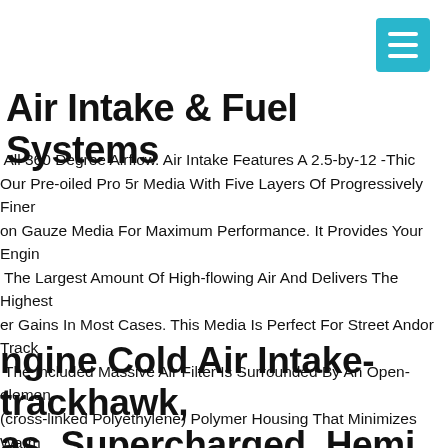Air Intake & Fuel Systems
Our Pre-oiled Pro 5r Media With Five Layers Of Progressively Finer on Gauze Media For Maximum Performance. It Provides Your Engin The Largest Amount Of High-flowing Air And Delivers The Highest er Gains In Most Cases. This Media Is Perfect For Street Andor Track The Included Massive Air Filter Is Surrounded By An Open-elemen (cross-linked Polyethylene) Polymer Housing That Minimizes Warm ne Air For Maximum Performance. Its Open Design Allows For Easy ring Of The Air Filter And Delivers An Aggressive Air Intake Sound. tiple Air Inlets Bring In Cool Air When Under Power Without Capturi Warm Air Surrounding The Engine.
ngine Cold Air Intake-trackhawk, as, Supercharged, Hemi, Wk2 Afe lters